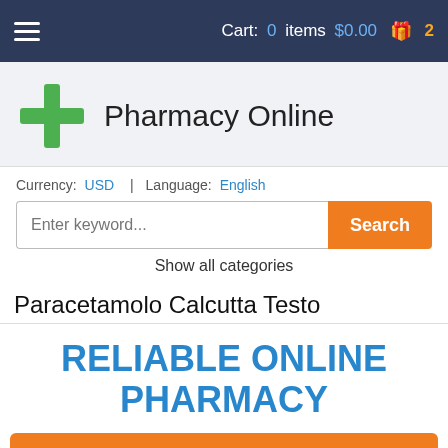Cart: 0 items $0.00 🎁 2
Pharmacy Online
Currency: USD | Language: English
Enter keyword... Search
Show all categories
Paracetamolo Calcutta Testo
RELIABLE ONLINE PHARMACY
> Click here to order now